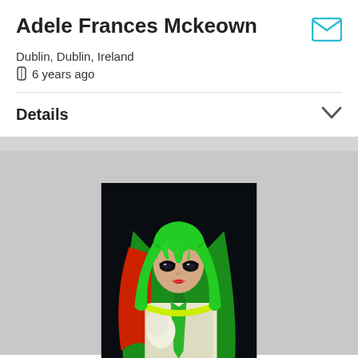Adele Frances Mckeown
Dublin, Dublin, Ireland
6 years ago
Details
[Figure (photo): Portrait photo of a person with bright green long hair and bangs, wearing a white outfit with red and green accessories, posed against a dark/black background. The style appears to be cosplay.]